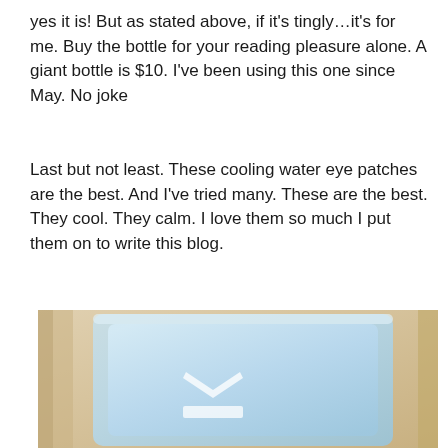yes it is! But as stated above, if it's tingly…it's for me. Buy the bottle for your reading pleasure alone. A giant bottle is $10. I've been using this one since May. No joke
Last but not least. These cooling water eye patches are the best. And I've tried many. These are the best. They cool. They calm. I love them so much I put them on to write this blog.
[Figure (photo): Close-up photo of a light blue frosted/translucent container or box with a white logo (chevron/eye mask icon above a rectangular bar) on the front, set against a sandy/beige background.]